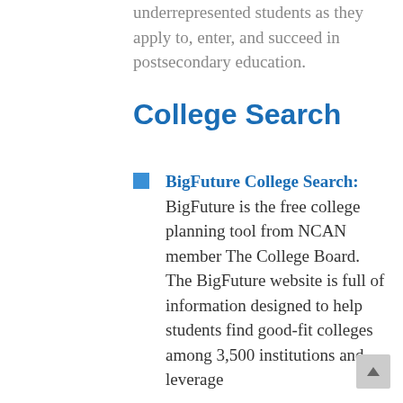underrepresented students as they apply to, enter, and succeed in postsecondary education.
College Search
BigFuture College Search: BigFuture is the free college planning tool from NCAN member The College Board. The BigFuture website is full of information designed to help students find good-fit colleges among 3,500 institutions and leverage